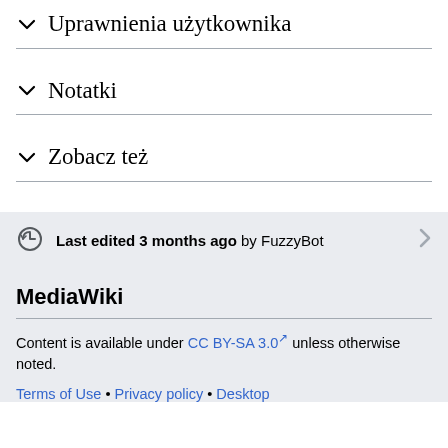Uprawnienia użytkownika
Notatki
Zobacz też
Last edited 3 months ago by FuzzyBot
MediaWiki
Content is available under CC BY-SA 3.0 unless otherwise noted.
Terms of Use • Privacy policy • Desktop